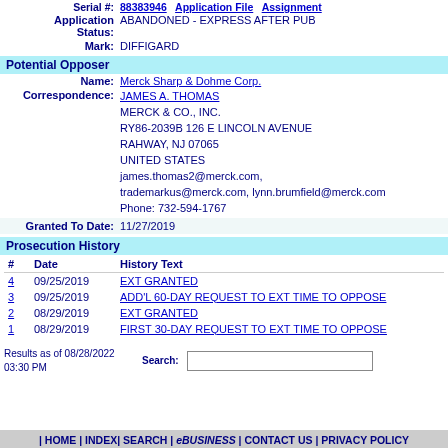Serial #: 88383946 | Application File | Assignment
Application Status: ABANDONED - EXPRESS AFTER PUB
Mark: DIFFIGARD
Potential Opposer
Name: Merck Sharp & Dohme Corp.
Correspondence: JAMES A. THOMAS
MERCK & CO., INC.
RY86-2039B 126 E LINCOLN AVENUE
RAHWAY, NJ 07065
UNITED STATES
james.thomas2@merck.com, trademarkus@merck.com, lynn.brumfield@merck.com
Phone: 732-594-1767
Granted To Date: 11/27/2019
Prosecution History
| # | Date | History Text |
| --- | --- | --- |
| 4 | 09/25/2019 | EXT GRANTED |
| 3 | 09/25/2019 | ADD'L 60-DAY REQUEST TO EXT TIME TO OPPOSE |
| 2 | 08/29/2019 | EXT GRANTED |
| 1 | 08/29/2019 | FIRST 30-DAY REQUEST TO EXT TIME TO OPPOSE |
Results as of 08/28/2022 03:30 PM   Search:
| HOME | INDEX | SEARCH | eBUSINESS | CONTACT US | PRIVACY POLICY